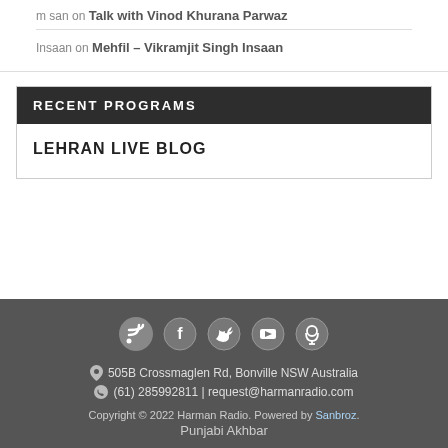m san on Talk with Vinod Khurana Parwaz
Insaan on Mehfil – Vikramjit Singh Insaan
RECENT PROGRAMS
LEHRAN LIVE BLOG
[Figure (infographic): Social media icons: RSS, Facebook, Twitter, YouTube, Podcast]
505B Crossmaglen Rd, Bonville NSW Australia
(61) 285992811 | request@harmanradio.com
Copyright © 2022 Harman Radio. Powered by Sanbroz. Punjabi Akhbar